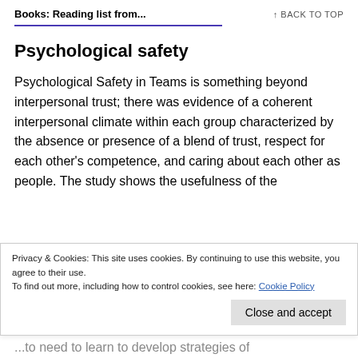Books: Reading list from...   ↑ BACK TO TOP
Psychological safety
Psychological Safety in Teams is something beyond interpersonal trust; there was evidence of a coherent interpersonal climate within each group characterized by the absence or presence of a blend of trust, respect for each other's competence, and caring about each other as people. The study shows the usefulness of the
Privacy & Cookies: This site uses cookies. By continuing to use this website, you agree to their use.
To find out more, including how to control cookies, see here: Cookie Policy
...to need to learn to develop strategies of